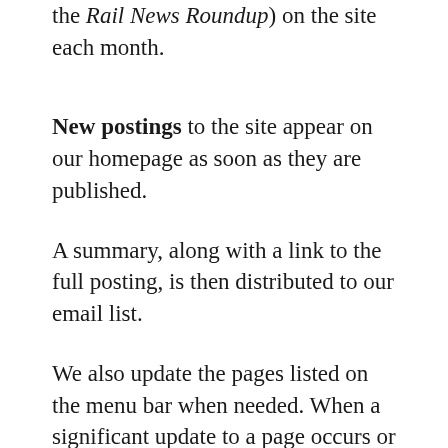the Rail News Roundup) on the site each month.
New postings to the site appear on our homepage as soon as they are published.
A summary, along with a link to the full posting, is then distributed to our email list.
We also update the pages listed on the menu bar when needed. When a significant update to a page occurs or a new page is created we'll provide a summary of the change(s) in the Rail